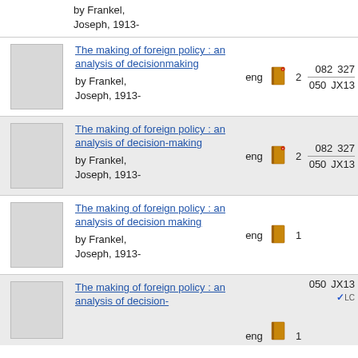by Frankel, Joseph, 1913-
The making of foreign policy : an analysis of decisionmaking by Frankel, Joseph, 1913-
The making of foreign policy : an analysis of decision-making by Frankel, Joseph, 1913-
The making of foreign policy : an analysis of decision making by Frankel, Joseph, 1913-
The making of foreign policy : an analysis of decision- by Frankel, Joseph, 1913-